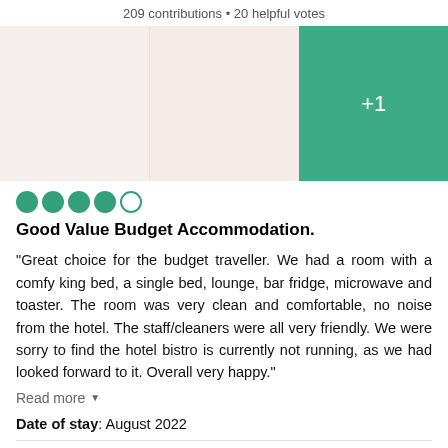209 contributions • 20 helpful votes
[Figure (photo): Three photo panels: two beige/light pink empty photo placeholders and one teal green panel with '+1' text overlay]
●●●●○ (4 out of 5 circles rating)
Good Value Budget Accommodation.
“Great choice for the budget traveller. We had a room with a comfy king bed, a single bed, lounge, bar fridge, microwave and toaster. The room was very clean and comfortable, no noise from the hotel. The staff/cleaners were all very friendly. We were sorry to find the hotel bistro is currently not running, as we had looked forward to it. Overall very happy.”
Read more
Date of stay: August 2022